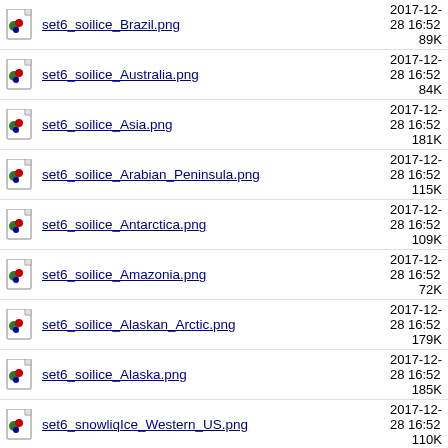set6_soilice_Brazil.png  2017-12-28 16:52  89K
set6_soilice_Australia.png  2017-12-28 16:52  84K
set6_soilice_Asia.png  2017-12-28 16:52  181K
set6_soilice_Arabian_Peninsula.png  2017-12-28 16:52  115K
set6_soilice_Antarctica.png  2017-12-28 16:52  109K
set6_soilice_Amazonia.png  2017-12-28 16:52  72K
set6_soilice_Alaskan_Arctic.png  2017-12-28 16:52  179K
set6_soilice_Alaska.png  2017-12-28 16:52  185K
set6_snowliqIce_Western_US.png  2017-12-28 16:52  110K
set6_snowliqIce_Western_Siberia.png  2017-12-28 16:52  97K
set6_snowliqIce_Tigris_Euphrates.png  2017-12-28 16:52  110K
set6_snowliqIce_Tibetan_Plateau.png  2017-12-28 16:52  114K